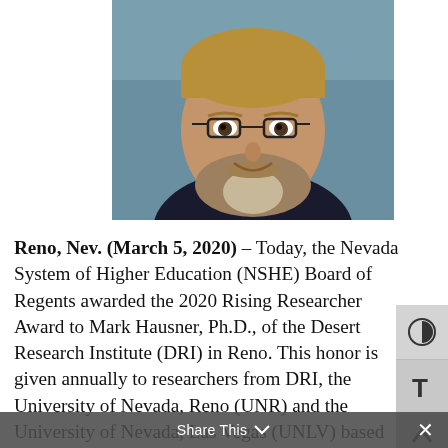[Figure (photo): Headshot of Mark Hausner, Ph.D., a middle-aged man with a beard and glasses, smiling, wearing a dark shirt, against a blue-grey background.]
Reno, Nev. (March 5, 2020) – Today, the Nevada System of Higher Education (NSHE) Board of Regents awarded the 2020 Rising Researcher Award to Mark Hausner, Ph.D., of the Desert Research Institute (DRI) in Reno. This honor is given annually to researchers from DRI, the University of Nevada, Reno (UNR) and the University of Nevada, Las Vegas (UNLV) based on early-career